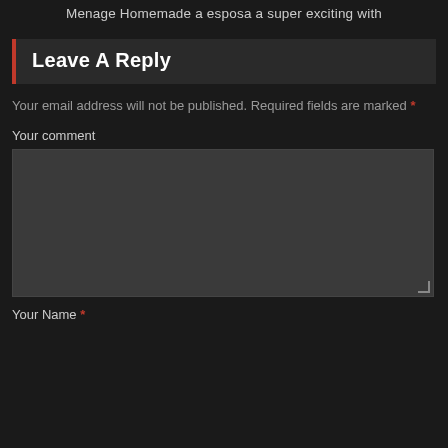Menage Homemade a esposa a super exciting with
Leave A Reply
Your email address will not be published. Required fields are marked *
Your comment
Your Name *